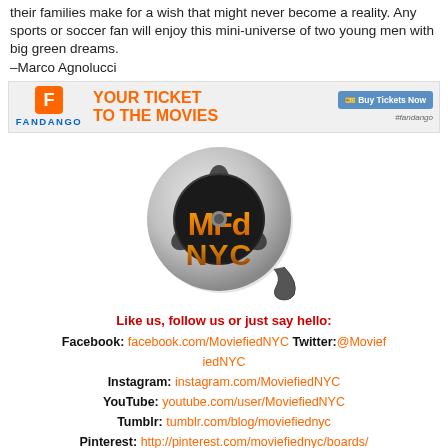their families make for a wish that might never become a reality.  Any sports or soccer fan will enjoy this mini-universe of two young men with big green dreams.
–Marco Agnolucci
[Figure (other): Fandango advertisement banner: Fandango logo on left, 'YOUR TICKET TO THE MOVIES' in orange text, blue 'Buy Tickets Now' button, #fandango hashtag]
[Figure (logo): MoviefiedNYC logo: film reel graphic in silver/gray with 'MFd NYC' text in orange and black]
Like us, follow us or just say hello:
Facebook: facebook.com/MoviefiedNYC  Twitter: @MoviefiedNYC
Instagram: instagram.com/MoviefiedNYC
YouTube: youtube.com/user/MoviefiedNYC
Tumblr: tumblr.com/blog/moviefiednyc
Pinterest: http://pinterest.com/moviefiednyc/boards/